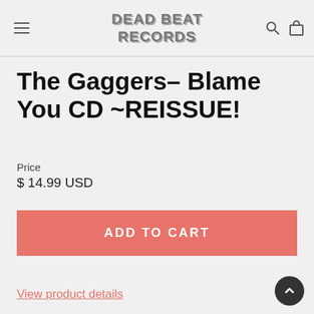Dead Beat Records
The Gaggers– Blame You CD ~REISSUE!
Price
$ 14.99 USD
ADD TO CART
View product details